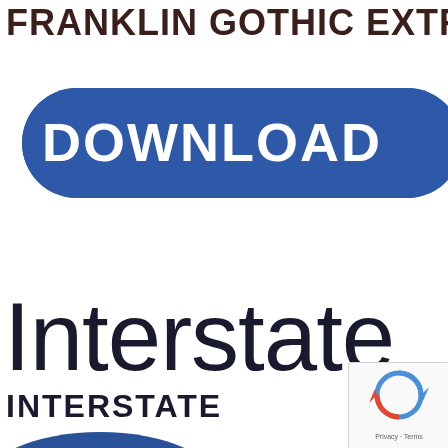FRANKLIN GOTHIC EXTRA C
[Figure (illustration): Blue pill-shaped download button with white bold text reading DOWNLOAD]
Interstate
INTERSTATE
[Figure (illustration): reCAPTCHA widget with Privacy - Terms text]
[Figure (illustration): Blue rounded shape partially visible at bottom of page]